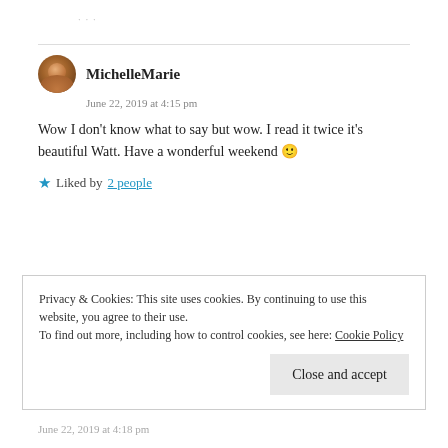... ... ...
MichelleMarie
June 22, 2019 at 4:15 pm
Wow I don't know what to say but wow. I read it twice it's beautiful Watt. Have a wonderful weekend 🙂
★ Liked by 2 people
Privacy & Cookies: This site uses cookies. By continuing to use this website, you agree to their use.
To find out more, including how to control cookies, see here: Cookie Policy
Close and accept
June 22, 2019 at 4:18 pm